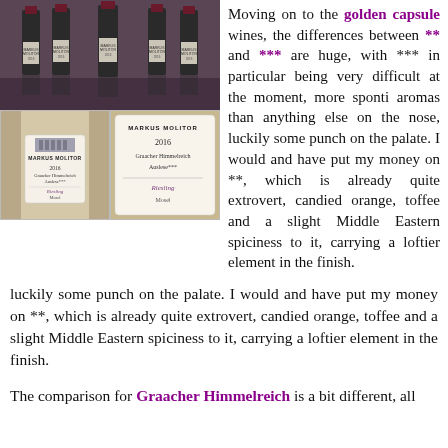[Figure (photo): Three wine bottles with dark capsules lined up on a table, Markus Molitor Graacher Himmelreich Riesling]
Moving on to the golden capsule wines, the differences between ** and *** are huge, with *** in particular being very difficult at the moment, more sponti aromas than anything else on the nose, luckily some punch on the palate. I would and have put my money on **, which is already quite extrovert, candied orange, toffee and a slight Middle Eastern spiciness to it, carrying a loftier element in the finish.
[Figure (photo): Two close-up photos of Markus Molitor 2016 Graacher Himmelreich Auslese wine bottle labels]
The comparison for Graacher Himmelreich is a bit different, all